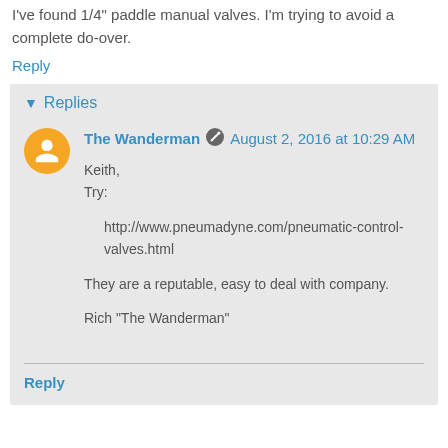I've found 1/4" paddle manual valves. I'm trying to avoid a complete do-over.
Reply
Replies
The Wanderman  August 2, 2016 at 10:29 AM
Keith,
Try:
http://www.pneumadyne.com/pneumatic-control-valves.html
They are a reputable, easy to deal with company.
Rich "The Wanderman"
Reply